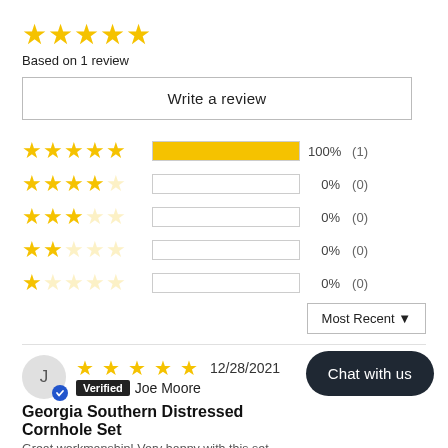[Figure (other): 5-star rating: 5 filled gold stars]
Based on 1 review
Write a review
[Figure (bar-chart): Rating breakdown]
Most Recent
J  ★★★★★  12/28/2021  Verified  Joe Moore
Georgia Southern Distressed Cornhole Set
Great workmanship! Very happy with this set
Chat with us